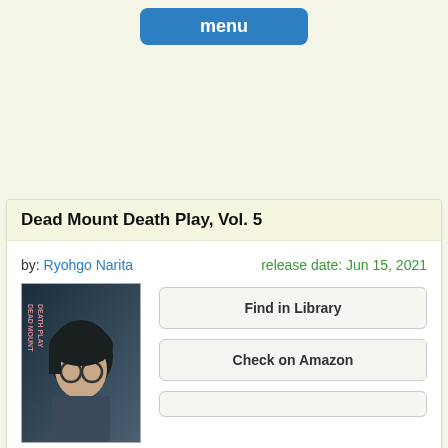menu
Dead Mount Death Play, Vol. 5
by: Ryohgo Narita   release date: Jun 15, 2021
[Figure (illustration): Book cover of Dead Mount Death Play Vol. 5 showing an anime character with dark hair and round glasses]
Find in Library
Check on Amazon